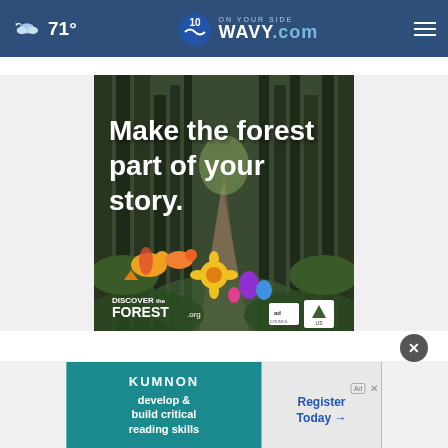71° WAVY.com ON YOUR SIDE
[Figure (photo): Forest advertisement: 'Make the forest part of your story.' with colorful folk-art birds and flowers, DiscoverTheForest.org, Ad Council and US Forest Service logos]
[Figure (infographic): Kumon advertisement: 'develop & build critical reading skills' with 'Register Today' call to action button on the right]